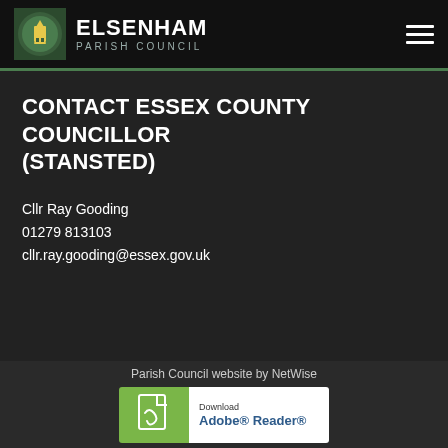ELSENHAM PARISH COUNCIL
CONTACT ESSEX COUNTY COUNCILLOR (STANSTED)
Cllr Ray Gooding
01279 813103
cllr.ray.gooding@essex.gov.uk
Parish Council website by NetWise
[Figure (logo): Download Adobe® Reader® badge with green left panel showing PDF icon and white right panel with text]